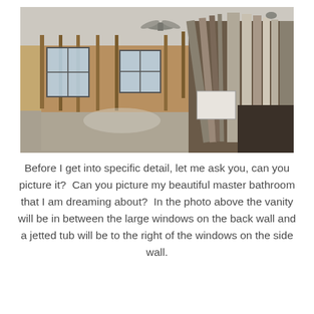[Figure (photo): Interior photo of a room under construction showing exposed wood stud framing on the walls, two large windows on the back wall, a ceiling fan, and building materials stacked against the right wall. The floor appears to be unfinished concrete.]
Before I get into specific detail, let me ask you, can you picture it?  Can you picture my beautiful master bathroom that I am dreaming about?  In the photo above the vanity will be in between the large windows on the back wall and a jetted tub will be to the right of the windows on the side wall.